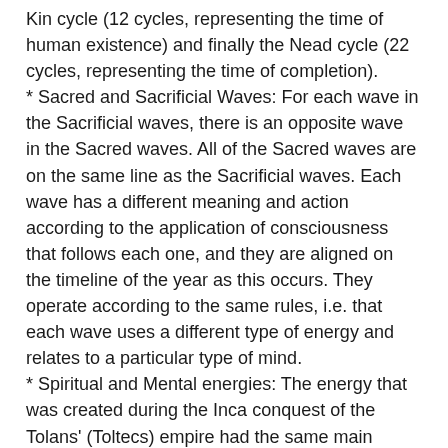Kin cycle (12 cycles, representing the time of human existence) and finally the Nead cycle (22 cycles, representing the time of completion).
* Sacred and Sacrificial Waves: For each wave in the Sacrificial waves, there is an opposite wave in the Sacred waves. All of the Sacred waves are on the same line as the Sacrificial waves. Each wave has a different meaning and action according to the application of consciousness that follows each one, and they are aligned on the timeline of the year as this occurs. They operate according to the same rules, i.e. that each wave uses a different type of energy and relates to a particular type of mind.
* Spiritual and Mental energies: The energy that was created during the Inca conquest of the Tolans' (Toltecs) empire had the same main energy. This energy is related to the elements of the planet and was represented by the planet's material elements and the five primary elements. However, the Inca imperial conquest was less influenced by the five elements, and thus the people could have only access to three waves,